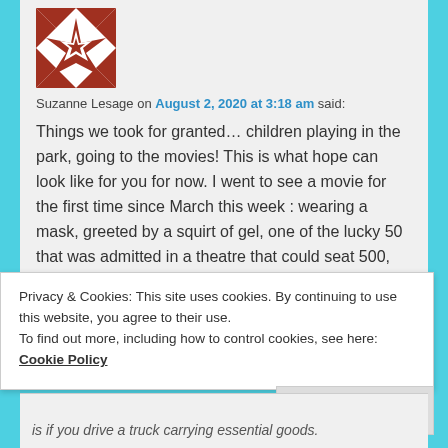[Figure (illustration): Geometric quilt-style logo/avatar in dark red/maroon with triangles and star pattern on white background]
Suzanne Lesage on August 2, 2020 at 3:18 am said:
Things we took for granted… children playing in the park, going to the movies! This is what hope can look like for you for now. I went to see a movie for the first time since March this week : wearing a mask, greeted by a squirt of gel, one of the lucky 50 that was admitted in a theatre that could seat 500, but with yellow tape, the kind used in crime scenes, blocking most of them off.
Privacy & Cookies: This site uses cookies. By continuing to use this website, you agree to their use.
To find out more, including how to control cookies, see here: Cookie Policy
Close and accept
is if you drive a truck carrying essential goods.